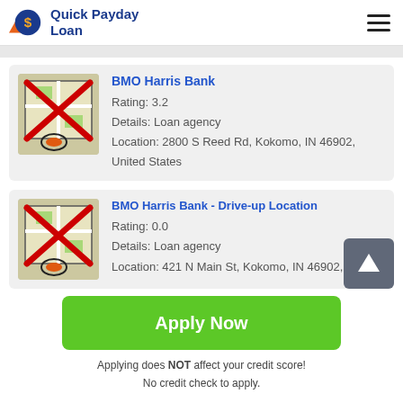Quick Payday Loan
[Figure (screenshot): Map icon with red X overlay for BMO Harris Bank listing]
BMO Harris Bank
Rating: 3.2
Details: Loan agency
Location: 2800 S Reed Rd, Kokomo, IN 46902, United States
[Figure (screenshot): Map icon with red X overlay for BMO Harris Bank Drive-up Location listing]
BMO Harris Bank - Drive-up Location
Rating: 0.0
Details: Loan agency
Location: 421 N Main St, Kokomo, IN 46902,
Apply Now
Applying does NOT affect your credit score!
No credit check to apply.